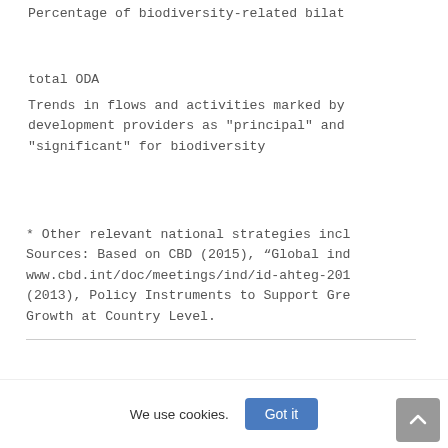Percentage of biodiversity-related bilat
total ODA
Trends in flows and activities marked by development providers as "principal" and "significant" for biodiversity
* Other relevant national strategies incl
Sources: Based on CBD (2015), “Global ind
www.cbd.int/doc/meetings/ind/id-ahteg-201
(2013), Policy Instruments to Support Gre
Growth at Country Level.